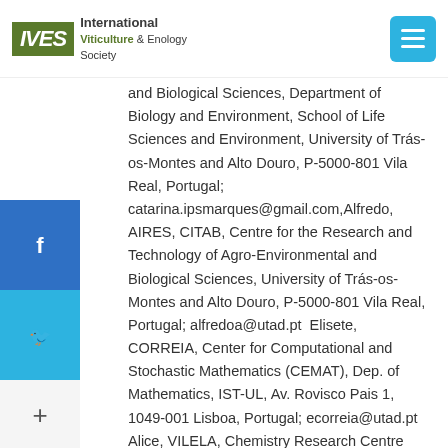IVES – International Viticulture & Enology Society
and Biological Sciences, Department of Biology and Environment, School of Life Sciences and Environment, University of Trás-os-Montes and Alto Douro, P-5000-801 Vila Real, Portugal; catarina.ipsmarques@gmail.com, Alfredo, AIRES, CITAB, Centre for the Research and Technology of Agro-Environmental and Biological Sciences, University of Trás-os-Montes and Alto Douro, P-5000-801 Vila Real, Portugal; alfredoa@utad.pt  Elisete, CORREIA, Center for Computational and Stochastic Mathematics (CEMAT), Dep. of Mathematics, IST-UL, Av. Rovisco Pais 1, 1049-001 Lisboa, Portugal; ecorreia@utad.pt  Alice, VILELA, Chemistry Research Centre (CQ-VR), Dep. of Biology and Environment, School of Life and Environmental